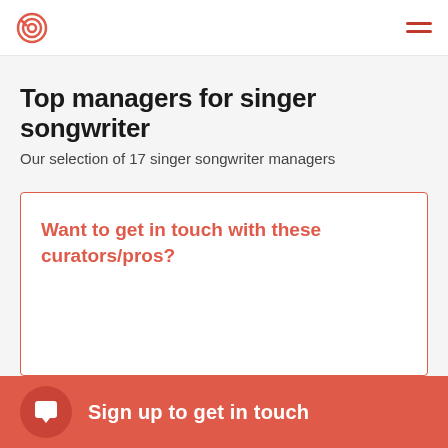Top managers for singer songwriter
Our selection of 17 singer songwriter managers
Want to get in touch with these curators/pros?
Sign up to get in touch